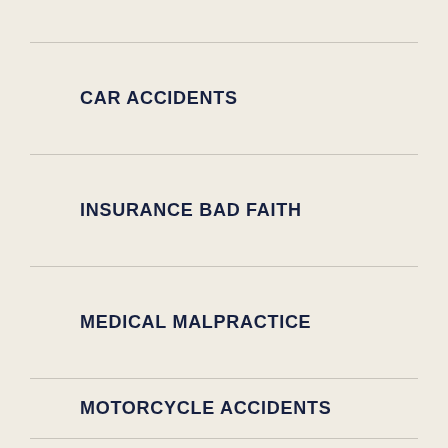CAR ACCIDENTS
INSURANCE BAD FAITH
MEDICAL MALPRACTICE
MOTORCYCLE ACCIDENTS